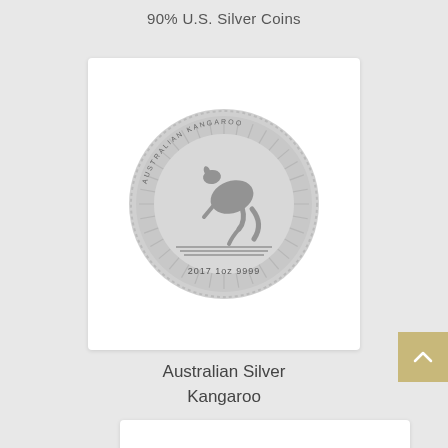90% U.S. Silver Coins
[Figure (photo): Australian Silver Kangaroo coin (2017 1oz 9999) displayed on a white card background. The coin shows a kangaroo in silhouette with radiating lines, text around the rim reading AUSTRALIAN KANGAROO, and at the bottom 2017 1oz 9999.]
Australian Silver Kangaroo
[Figure (photo): Partial view of another silver coin at the bottom of the page, showing only the top portion of the coin against a white card background.]